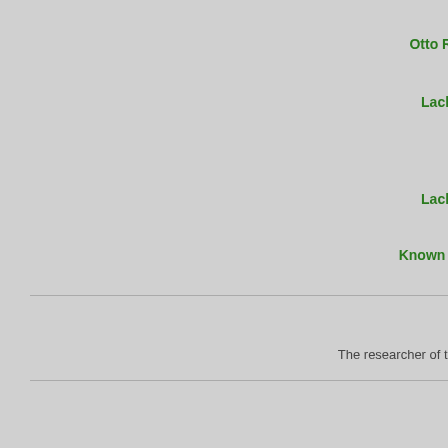Aujourd'hui :
Otto Rahn at the street of Berlin (at right), appr. 1934
A Corte de Lucifer, French
Lachrymae, Chapter IV: The Final Chapter
Depuis toujours :
Otto Rahn Biography
Lachrymae, Chapter IV: The Final Chapter
Otto Rahn's books
Known photos of Otto Wilhelm Rahn
Raiders of the Lost Grail
Random Lexicon
Jean-Luc Robin
The researcher of the mystery of Rennes-le-Château
[Figure (illustration): Black sun symbol (Schwarze Sonne) — circular runic wheel symbol]
Bla... Inv... syn... sid... cel... inv... syn... in a...
Helena Blavatsky'... Synonymes: Schw... Солнце
Définition détaillé...
[Figure (photo): Book cover: The Blood Lance by Craig Smith]
Blo... the... inv... Vo...
[Figure (photo): Historical portrait photo of a man (priest/clergyman) holding something]
Bo... He... of R... le-c... Vo...